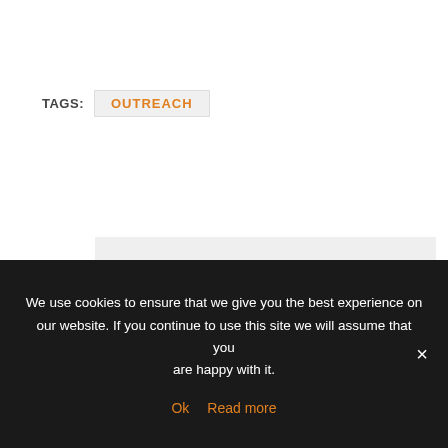TAGS:  OUTREACH
Comments
Your email address will not be published. Required fields are marked *
We use cookies to ensure that we give you the best experience on our website. If you continue to use this site we will assume that you are happy with it.  Ok  Read more